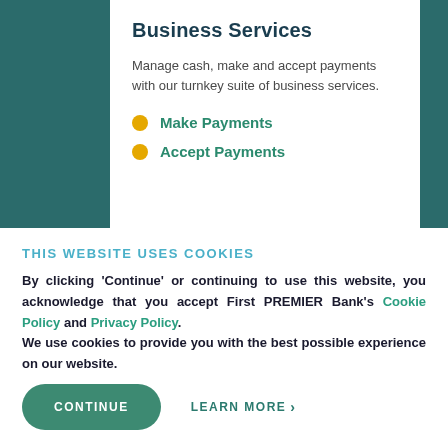Business Services
Manage cash, make and accept payments with our turnkey suite of business services.
Make Payments
Accept Payments
THIS WEBSITE USES COOKIES
By clicking 'Continue' or continuing to use this website, you acknowledge that you accept First PREMIER Bank's Cookie Policy and Privacy Policy. We use cookies to provide you with the best possible experience on our website.
CONTINUE
LEARN MORE >